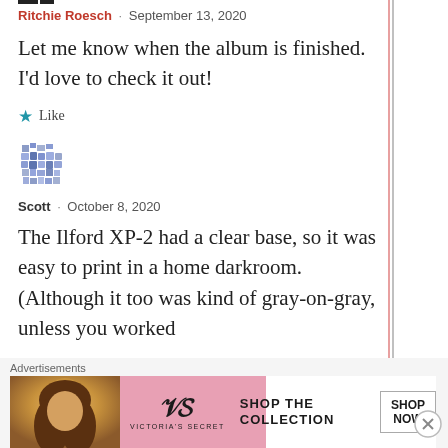Ritchie Roesch · September 13, 2020
Let me know when the album is finished. I'd love to check it out!
★ Like
[Figure (illustration): Blue pixelated/mosaic avatar icon for user Scott]
Scott · October 8, 2020
The Ilford XP-2 had a clear base, so it was easy to print in a home darkroom. (Although it too was kind of gray-on-gray, unless you worked
Advertisements
[Figure (screenshot): Victoria's Secret advertisement banner: woman photo, VS logo, SHOP THE COLLECTION text, SHOP NOW button]